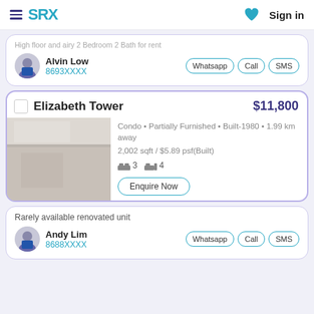SRX | Sign in
High floor and airy 2 Bedroom 2 Bath for rent
Alvin Low
8693XXXX
Whatsapp | Call | SMS
Elizabeth Tower  $11,800
Condo • Partially Furnished • Built-1980 • 1.99 km away
2,002 sqft / $5.89 psf(Built)
3 bedrooms  4 bathrooms
Enquire Now
Rarely available renovated unit
Andy Lim
8688XXXX
Whatsapp | Call | SMS